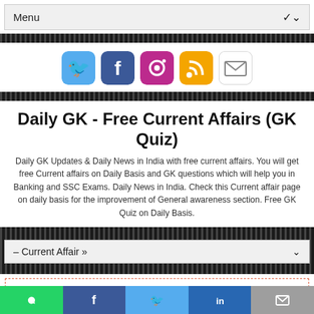Menu
[Figure (infographic): Social media icons row: Twitter (blue bird), Facebook (blue f), Instagram (camera), RSS (orange), Email (envelope)]
Daily GK - Free Current Affairs (GK Quiz)
Daily GK Updates & Daily News in India with free current affairs. You will get free Current affairs on Daily Basis and GK questions which will help you in Banking and SSC Exams. Daily News in India. Check this Current affair page on daily basis for the improvement of General awareness section. Free GK Quiz on Daily Basis.
– Current Affair »
Home » Daily Current Affairs , Daily Currrent Affairs , Daily GK » DAILY GK: 15,16 JUNE 2022
DAILY GK: 15,16 JUNE 2022
[Figure (infographic): Bottom share bar with WhatsApp (green), Facebook (blue), Twitter (light blue), LinkedIn (dark blue), Email (grey) icons]